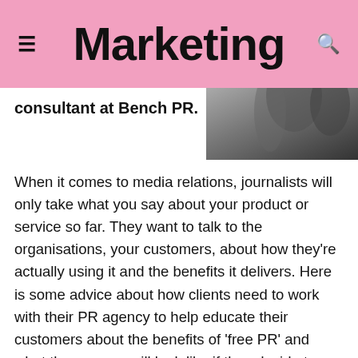Marketing
consultant at Bench PR.
[Figure (photo): Black and white photo of a person, partially visible, cropped at top-right of content area]
When it comes to media relations, journalists will only take what you say about your product or service so far. They want to talk to the organisations, your customers, about how they're actually using it and the benefits it delivers. Here is some advice about how clients need to work with their PR agency to help educate their customers about the benefits of 'free PR' and what the process will look like if they decide to go ahead.
Tip one